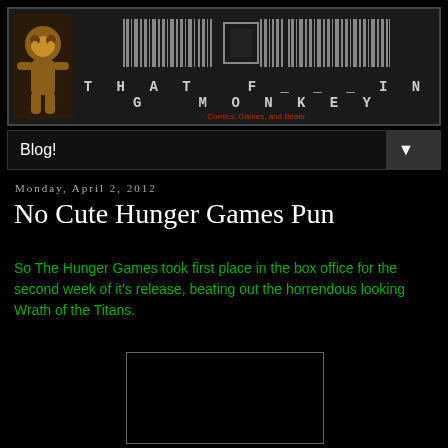[Figure (logo): That F___ing Monkey blog header banner with barcode design, monkey logo, and site title text]
Blog! ▼
Monday, April 2, 2012
No Cute Hunger Games Pun
So The Hunger Games took first place in the box office for the second week of it's release, beating out the horrendous looking Wrath of the Titans.
[Figure (photo): Dark image placeholder with thin border]